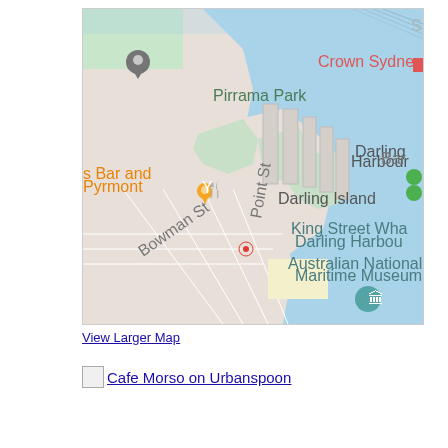[Figure (map): Google Maps screenshot showing Pyrmont/Darling Harbour area of Sydney, Australia. Shows Pirrama Park, Darling Island, King Street Wharf, Darling Harbour, Australian National Maritime Museum, Crown Sydney, and Bowman St / Point St street labels. An orange location pin marker is visible near the left edge. A red location circle marker is visible near Point St.]
View Larger Map
Cafe Morso on Urbanspoon